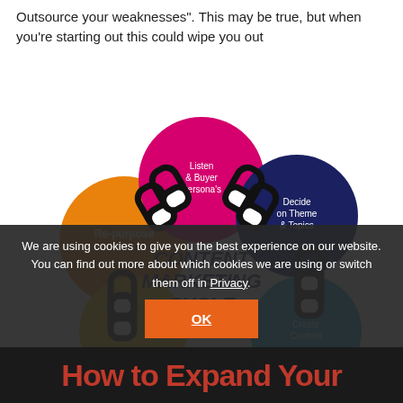Outsource your weaknesses". This may be true, but when you're starting out this could wipe you out
[Figure (infographic): Content Marketing Cycle infographic showing a circular chain of colored circles: pink (Listen & Buyer Persona's), dark blue (Decide on Theme & Topics), light blue (Create Content), yellow (bottom left), orange (Re-purpose), connected by chain links. Center text reads CONTENT MARKETING CYCLE in dark blue.]
We are using cookies to give you the best experience on our website. You can find out more about which cookies we are using or switch them off in Privacy.
How to Expand Your